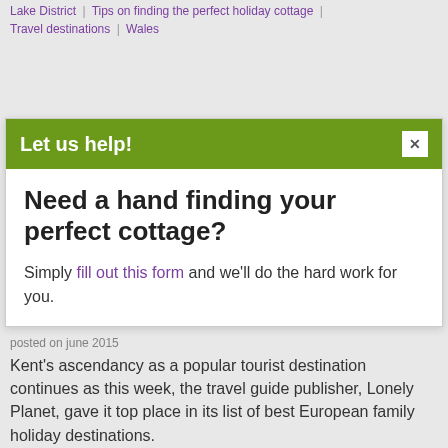Lake District | Tips on finding the perfect holiday cottage | Travel destinations | Wales
Let us help!
Need a hand finding your perfect cottage?
Simply fill out this form and we'll do the hard work for you.
Kent's ascendancy as a popular tourist destination continues as this week, the travel guide publisher, Lonely Planet, gave it top place in its list of best European family holiday destinations. Read more...
Tagged in: Entertaining the kids | Kent, UK | Travel destinations